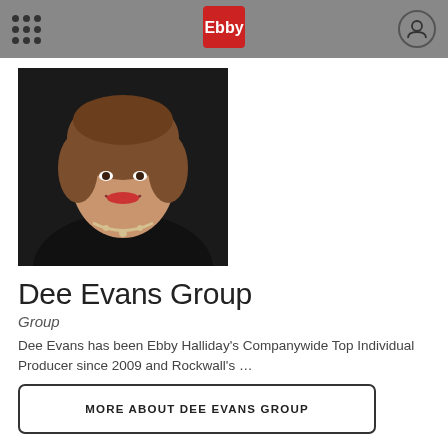Ebby Halliday — navigation header
[Figure (photo): Professional headshot of Dee Evans, a woman with short brown hair, wearing a black top and pearl necklace, smiling]
Dee Evans Group
Group
Dee Evans has been Ebby Halliday's Companywide Top Individual Producer since 2009 and Rockwall's …
MORE ABOUT DEE EVANS GROUP
(972) 771-8163   (972) 567-0046   Email
Website   Roster
Rockwall/Heath/Lake Ray Hubbard Office